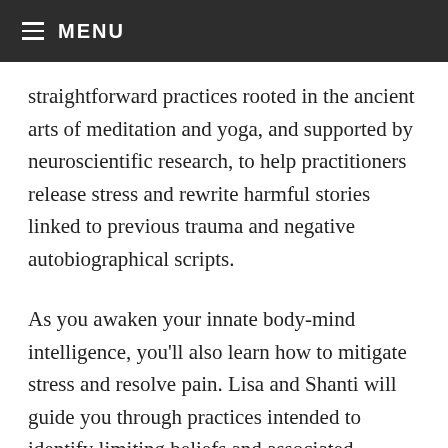≡ MENU
straightforward practices rooted in the ancient arts of meditation and yoga, and supported by neuroscientific research, to help practitioners release stress and rewrite harmful stories linked to previous trauma and negative autobiographical scripts.
As you awaken your innate body-mind intelligence, you'll also learn how to mitigate stress and resolve pain. Lisa and Shanti will guide you through practices intended to identify limiting beliefs and associated neurological patterns, while helping you to